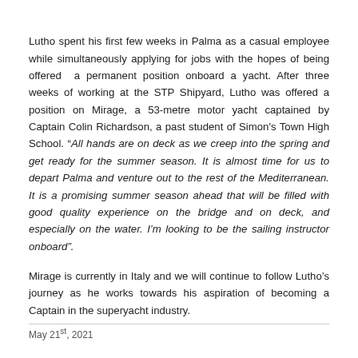Lutho spent his first few weeks in Palma as a casual employee while simultaneously applying for jobs with the hopes of being offered a permanent position onboard a yacht. After three weeks of working at the STP Shipyard, Lutho was offered a position on Mirage, a 53-metre motor yacht captained by Captain Colin Richardson, a past student of Simon's Town High School. “All hands are on deck as we creep into the spring and get ready for the summer season. It is almost time for us to depart Palma and venture out to the rest of the Mediterranean. It is a promising summer season ahead that will be filled with good quality experience on the bridge and on deck, and especially on the water. I’m looking to be the sailing instructor onboard”.
Mirage is currently in Italy and we will continue to follow Lutho’s journey as he works towards his aspiration of becoming a Captain in the superyacht industry.
May 21st, 2021